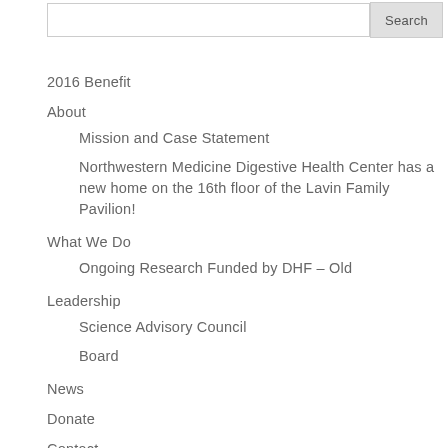Search
2016 Benefit
About
Mission and Case Statement
Northwestern Medicine Digestive Health Center has a new home on the 16th floor of the Lavin Family Pavilion!
What We Do
Ongoing Research Funded by DHF – Old
Leadership
Science Advisory Council
Board
News
Donate
Contact